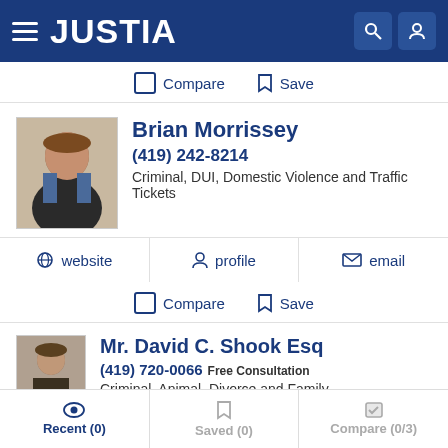JUSTIA
Compare  Save
Brian Morrissey
(419) 242-8214
Criminal, DUI, Domestic Violence and Traffic Tickets
website  profile  email
Compare  Save
Mr. David C. Shook Esq
(419) 720-0066  Free Consultation
Criminal, Animal, Divorce and Family
Recent (0)  Saved (0)  Compare (0/3)